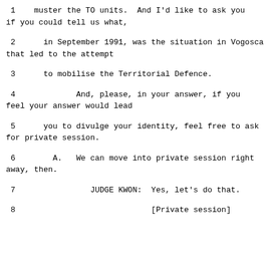1    muster the TO units.  And I'd like to ask you if you could tell us what,
2      in September 1991, was the situation in Vogosca that led to the attempt
3      to mobilise the Territorial Defence.
4             And, please, in your answer, if you feel your answer would lead
5      you to divulge your identity, feel free to ask for private session.
6        A.   We can move into private session right away, then.
7                JUDGE KWON:  Yes, let's do that.
8                             [Private session]